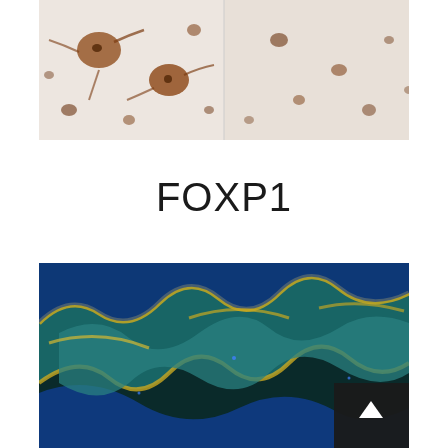[Figure (photo): Microscopy image showing immunohistochemistry staining with brown-stained cells (neurons) on a light/white background, split panel showing two tissue sections]
FOXP1
[Figure (photo): Fluorescence microscopy image showing tissue with teal, blue, green, and yellow coloring — folded tissue structure visible against dark background. A scroll-to-top navigation button is overlaid in the bottom-right corner.]